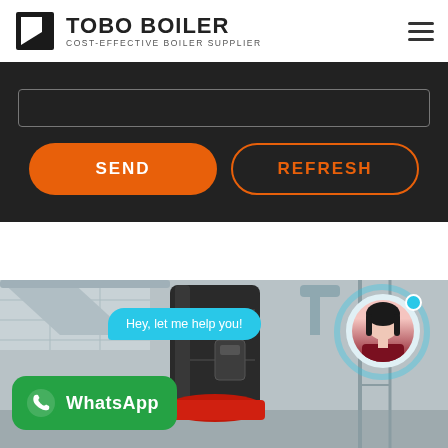TOBO BOILER COST-EFFECTIVE BOILER SUPPLIER
[Figure (screenshot): Dark form area with an input field and two buttons: SEND (orange filled) and REFRESH (orange outlined)]
[Figure (photo): Industrial boiler room with a large dark cylindrical boiler, red burner base, scaffolding, and ceiling ductwork. Overlay includes a cyan chat bubble saying 'Hey, let me help you!', a female avatar with a blue online dot, a teal ring, and a green WhatsApp badge.]